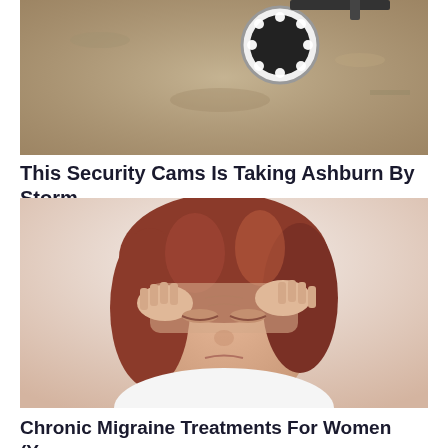[Figure (photo): Security camera mounted on a textured wall, white circular camera with LED ring, viewed from below]
This Security Cams Is Taking Ashburn By Storm.
Keilini
Learn More
[Figure (photo): Woman with auburn hair gripping her head with both hands, eyes closed in pain, suffering from migraine, wearing white top]
Chronic Migraine Treatments For Women (You